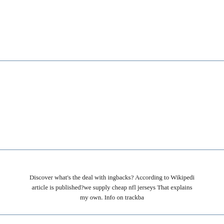Discover what's the deal with ingbacks? According to Wikipedia article is published?we supply cheap nfl jerseys That explains my own. Info on trackba